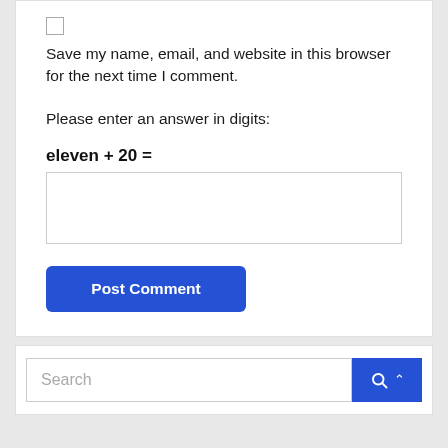Save my name, email, and website in this browser for the next time I comment.
Please enter an answer in digits:
eleven + 20 =
[Figure (screenshot): Empty text input field for answer]
[Figure (screenshot): Post Comment button (blue, rounded)]
[Figure (screenshot): Search bar with blue search/up-arrow button]